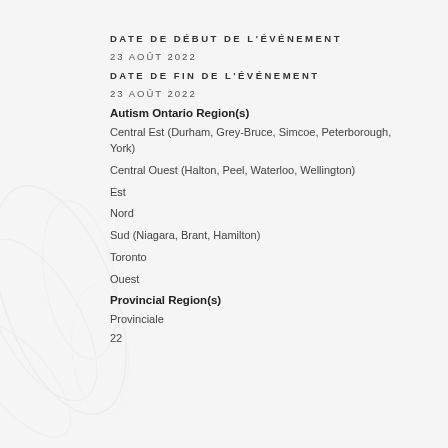DATE DE DÉBUT DE L'ÉVÉNEMENT
23 AOÛT 2022
DATE DE FIN DE L'ÉVÉNEMENT
23 AOÛT 2022
Autism Ontario Region(s)
Central Est (Durham, Grey-Bruce, Simcoe, Peterborough, York)
Central Ouest (Halton, Peel, Waterloo, Wellington)
Est
Nord
Sud (Niagara, Brant, Hamilton)
Toronto
Ouest
Provincial Region(s)
Provinciale
22